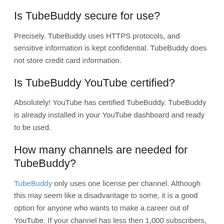Is TubeBuddy secure for use?
Precisely. TubeBuddy uses HTTPS protocols, and sensitive information is kept confidential. TubeBuddy does not store credit card information.
Is TubeBuddy YouTube certified?
Absolutely! YouTube has certified TubeBuddy. TubeBuddy is already installed in your YouTube dashboard and ready to be used.
How many channels are needed for TubeBuddy?
TubeBuddy only uses one license per channel. Although this may seem like a disadvantage to some, it is a good option for anyone who wants to make a career out of YouTube. If your channel has less then 1,000 subscribers, they offer discounts on their website.